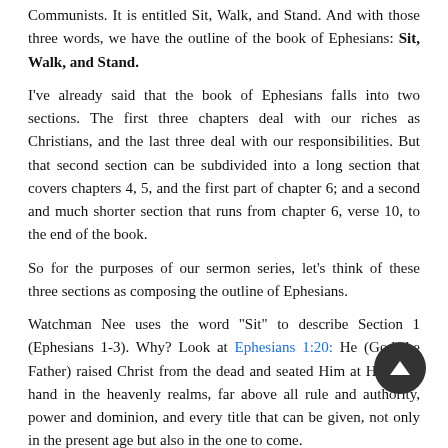Communists. It is entitled Sit, Walk, and Stand. And with those three words, we have the outline of the book of Ephesians: Sit, Walk, and Stand.
I've already said that the book of Ephesians falls into two sections. The first three chapters deal with our riches as Christians, and the last three deal with our responsibilities. But that second section can be subdivided into a long section that covers chapters 4, 5, and the first part of chapter 6; and a second and much shorter section that runs from chapter 6, verse 10, to the end of the book.
So for the purposes of our sermon series, let's think of these three sections as composing the outline of Ephesians.
Watchman Nee uses the word "Sit" to describe Section 1 (Ephesians 1-3). Why? Look at Ephesians 1:20: He (God the Father) raised Christ from the dead and seated Him at His right hand in the heavenly realms, far above all rule and authority, power and dominion, and every title that can be given, not only in the present age but also in the one to come.